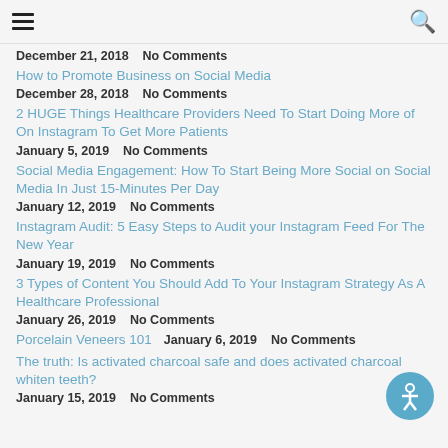Navigation menu and search
December 21, 2018    No Comments
How to Promote Business on Social Media
December 28, 2018    No Comments
2 HUGE Things Healthcare Providers Need To Start Doing More of On Instagram To Get More Patients
January 5, 2019    No Comments
Social Media Engagement: How To Start Being More Social on Social Media In Just 15-Minutes Per Day
January 12, 2019    No Comments
Instagram Audit: 5 Easy Steps to Audit your Instagram Feed For The New Year
January 19, 2019    No Comments
3 Types of Content You Should Add To Your Instagram Strategy As A Healthcare Professional
January 26, 2019    No Comments
Porcelain Veneers 101
January 6, 2019    No Comments
The truth: Is activated charcoal safe and does activated charcoal whiten teeth?
January 15, 2019    No Comments